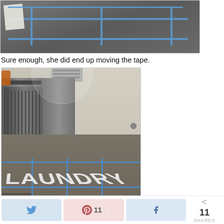[Figure (photo): Top portion of a photo showing a floor with blue painter's tape forming a grid pattern, with a corner of paper visible]
Sure enough, she did end up moving the tape.
[Figure (photo): Photo of a laundry room with stainless steel appliances on the left, light-colored walls, and the word LAUNDRY spelled out in white letters on the floor with blue painter's tape creating a grid pattern around the letters]
Twitter share button | Pinterest 11 shares button | Facebook share button | < 11 SHARES